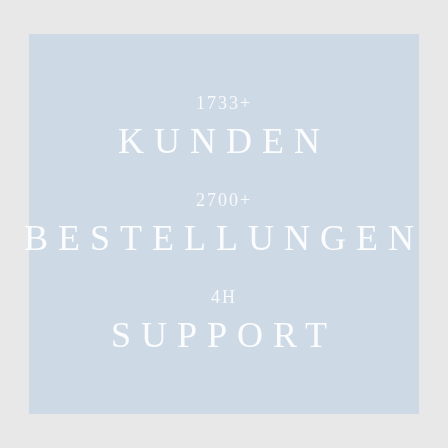1733+
KUNDEN
2700+
BESTELLUNGEN
4H
SUPPORT